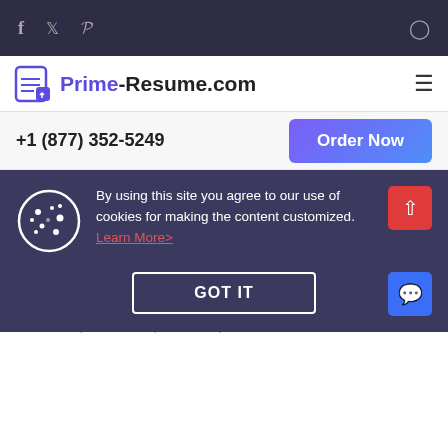f  t  P  [user icon]
Prime-Resume.com [hamburger menu]
+1 (877) 352-5249
Order Now
By using this site you agree to our use of cookies for making the content customized. Learn More>
GOT IT
Summer is usually a good opportunity for it and that is why we are talking about it. Another thing that could be really helpful for your career is working on your social network accounts. So if you really care about your career or if you are looking for a job then take the time to get your social networks accounts intact.
First of all, Facebook, LinkedIn, and Twitter accounts